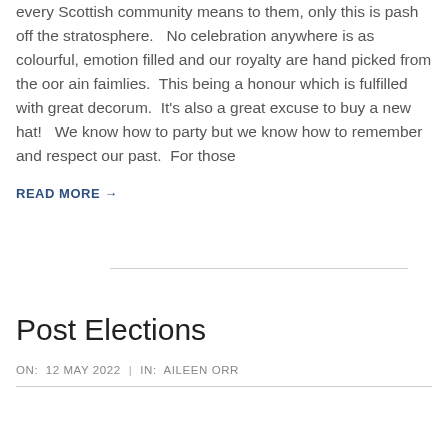every Scottish community means to them, only this is pash off the stratosphere.   No celebration anywhere is as colourful, emotion filled and our royalty are hand picked from the oor ain faimlies.  This being a honour which is fulfilled with great decorum.  It's also a great excuse to buy a new hat!   We know how to party but we know how to remember and respect our past.  For those
READ MORE →
Post Elections
ON:  12 MAY 2022   |   IN:  AILEEN ORR